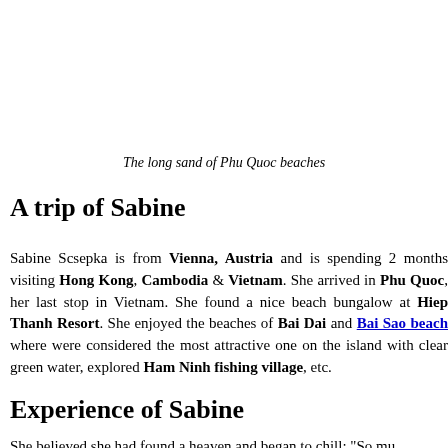The long sand of Phu Quoc beaches
A trip of Sabine
Sabine Scsepka is from Vienna, Austria and is spending 2 months visiting Hong Kong, Cambodia & Vietnam. She arrived in Phu Quoc, her last stop in Vietnam. She found a nice beach bungalow at Hiep Thanh Resort. She enjoyed the beaches of Bai Dai and Bai Sao beach where were considered the most attractive one on the island with clear green water, explored Ham Ninh fishing village, etc.
Experience of Sabine
She believed she had found a heaven and began to chill: "So mu